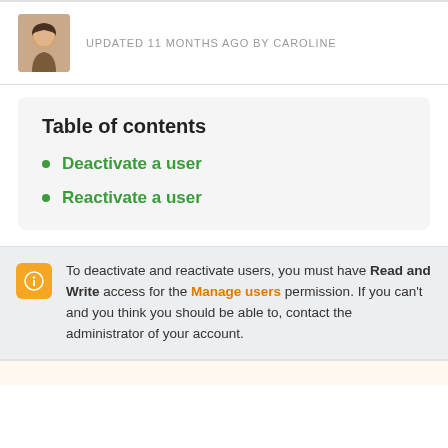UPDATED 11 MONTHS AGO BY CAROLINE
Table of contents
Deactivate a user
Reactivate a user
To deactivate and reactivate users, you must have Read and Write access for the Manage users permission. If you can't and you think you should be able to, contact the administrator of your account.